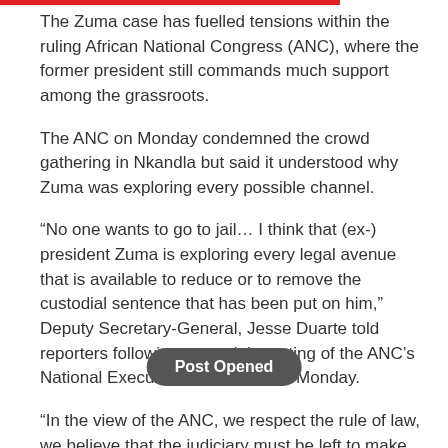The Zuma case has fuelled tensions within the ruling African National Congress (ANC), where the former president still commands much support among the grassroots.
The ANC on Monday condemned the crowd gathering in Nkandla but said it understood why Zuma was exploring every possible channel.
“No one wants to go to jail… I think that (ex-) president Zuma is exploring every legal avenue that is available to reduce or to remove the custodial sentence that has been put on him,” Deputy Secretary-General, Jesse Duarte told reporters following a special meeting of the ANC’s National Executive Committee on Monday.
“In the view of the ANC, we respect the rule of law, we believe that the judiciary must be left to make its own